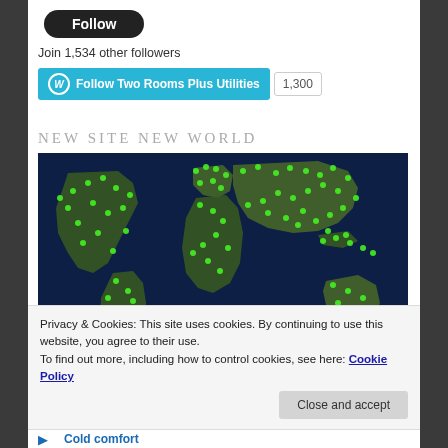[Figure (other): Dark rounded 'Follow' button]
Join 1,534 other followers
[Figure (other): WordPress Follow Two Rooms Plus Utilities button with count 1,300]
NEW SITE NEW WORLD
[Figure (map): World map on dark blue background with green dot markers showing site visitors/followers across all continents]
Privacy & Cookies: This site uses cookies. By continuing to use this website, you agree to their use.
To find out more, including how to control cookies, see here: Cookie Policy
[Figure (other): Close and accept button]
Cold comfort